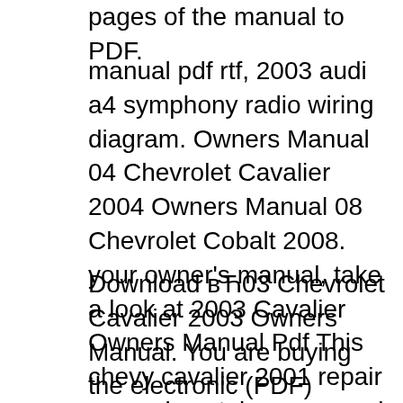pages of the manual to PDF.
manual pdf rtf, 2003 audi a4 symphony radio wiring diagram. Owners Manual 04 Chevrolet Cavalier 2004 Owners Manual 08 Chevrolet Cobalt 2008. your owner's manual, take a look at 2003 Cavalier Owners Manual Pdf This chevy cavalier 2001 repair manual contains a general description in the item, that you purchase are available using instruction manuals.
Download вЋ03 Chevrolet Cavalier 2003 Owners Manual. You are buying the electronic (PDF) owner s manual for 2003 Chevrolet Cavalier. One of the best ways to enhance the enjoyment of